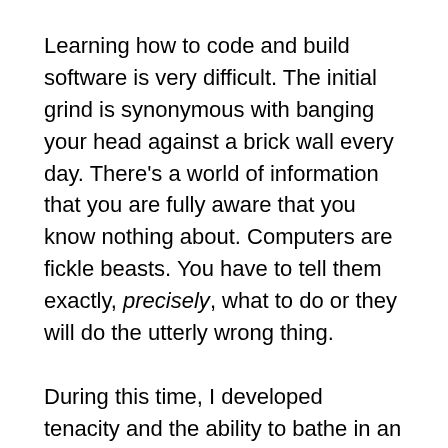Learning how to code and build software is very difficult. The initial grind is synonymous with banging your head against a brick wall every day. There's a world of information that you are fully aware that you know nothing about. Computers are fickle beasts. You have to tell them exactly, precisely, what to do or they will do the utterly wrong thing.
During this time, I developed tenacity and the ability to bathe in an environment of constant failure. Code just doesn't work….until it works. You start with failure with everything you're building. Eventually, you come up for air with each success! Your achievement is rewarded with a new brick